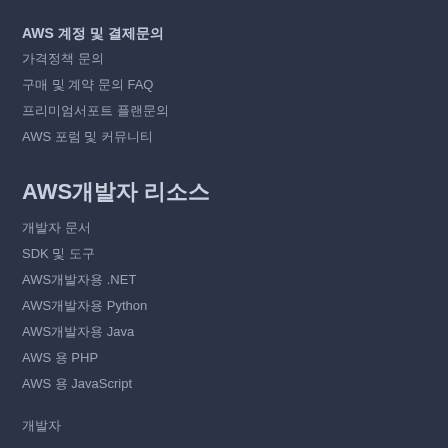AWS 계정 및 결제문의
가격정책 문의
구매 및 계약 문의 FAQ
프리미엄서포트 플랜문의
AWS 포럼 및 커뮤니티
AWS개발자 리소스
개발자 문서
SDK 및 도구
AWS개발자용 .NET
AWS개발자용 Python
AWS개발자용 Java
AWS 용 PHP
AWS 용 JavaScript
개발자